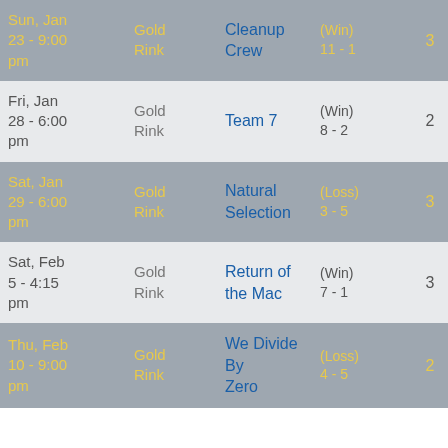| Date | Rink | Opponent | Result/Score | Pts |
| --- | --- | --- | --- | --- |
| Sun, Jan 23 - 9:00 pm | Gold Rink | Cleanup Crew | (Win) 11 - 1 | 3 |
| Fri, Jan 28 - 6:00 pm | Gold Rink | Team 7 | (Win) 8 - 2 | 2 |
| Sat, Jan 29 - 6:00 pm | Gold Rink | Natural Selection | (Loss) 3 - 5 | 3 |
| Sat, Feb 5 - 4:15 pm | Gold Rink | Return of the Mac | (Win) 7 - 1 | 3 |
| Thu, Feb 10 - 9:00 pm | Gold Rink | We Divide By Zero | (Loss) 4 - 5 | 2 |